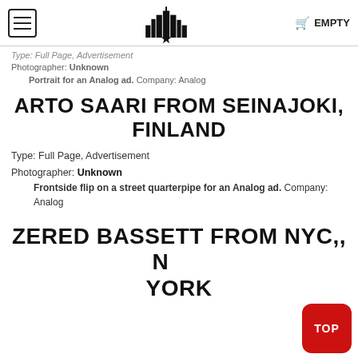EMPTY
Type: Full Page, Advertisement
Photographer: Unknown
Portrait for an Analog ad. Company: Analog
ARTO SAARI FROM SEINAJOKI, FINLAND
Type: Full Page, Advertisement
Photographer: Unknown
Frontside flip on a street quarterpipe for an Analog ad. Company: Analog
ZERED BASSETT FROM NYC,, NEW YORK